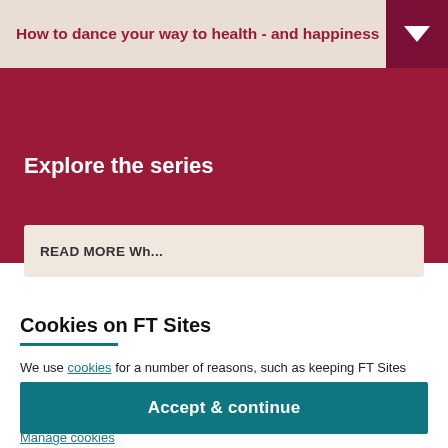How to dance your way to health - and happiness
Explore the series
READ MORE Why...
Cookies on FT Sites
We use cookies for a number of reasons, such as keeping FT Sites reliable and secure, personalising content and ads, providing social media features and to analyse how our Sites are used.
Manage cookies
Accept & continue